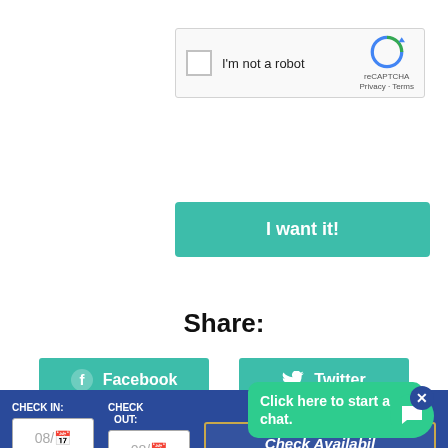[Figure (screenshot): reCAPTCHA widget with checkbox labeled I'm not a robot, reCAPTCHA logo, Privacy and Terms links]
[Figure (screenshot): Teal button labeled I want it!]
Share:
[Figure (screenshot): Teal Facebook button with Facebook icon]
[Figure (screenshot): Teal Twitter button with Twitter bird icon]
[Figure (screenshot): Blue booking bar with CHECK IN 08/, CHECK OUT 08/, Check Availability button, green chat bubble saying Click here to start a chat, close X button, and green chat icon]